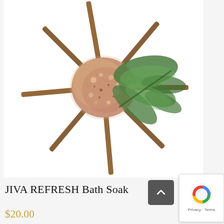[Figure (photo): Product photo of JIVA REFRESH Bath Soak: a circle of pink Himalayan bath salts in the center surrounded by cinnamon sticks arranged radially, with a sprig of green cedar/cypress fern overlapping the right side, all on a white background.]
JIVA REFRESH Bath Soak
$20.00